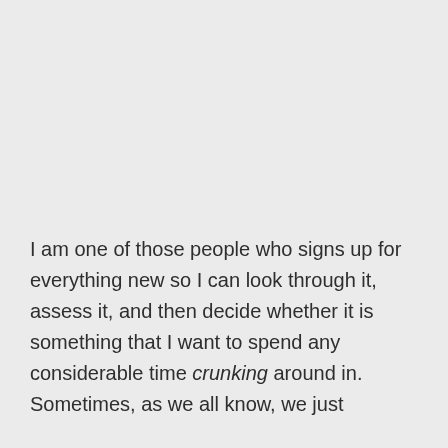I am one of those people who signs up for everything new so I can look through it, assess it, and then decide whether it is something that I want to spend any considerable time crunking around in. Sometimes, as we all know, we just